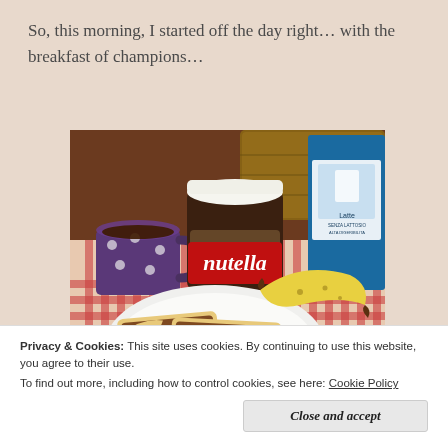So, this morning, I started off the day right… with the breakfast of champions…
[Figure (photo): Breakfast table with a jar of Nutella, a polka-dot mug with hot drink, two slices of bread with Nutella spread on a plate, a banana, a wicker basket, and a blue milk carton in the background on a red-and-white checkered tablecloth.]
Privacy & Cookies: This site uses cookies. By continuing to use this website, you agree to their use.
To find out more, including how to control cookies, see here: Cookie Policy
Close and accept